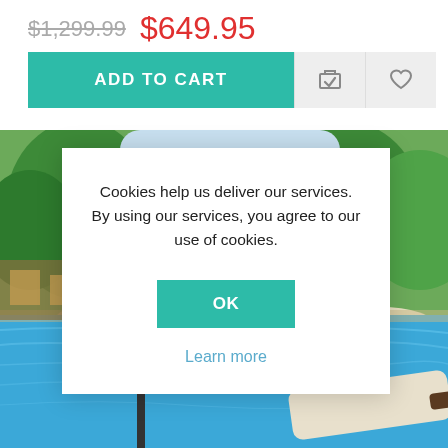$1,299.99  $649.95
ADD TO CART
[Figure (screenshot): Pool/resort background photo with lounge chairs, blue water, palm trees and umbrellas]
Cookies help us deliver our services. By using our services, you agree to our use of cookies.
OK
Learn more